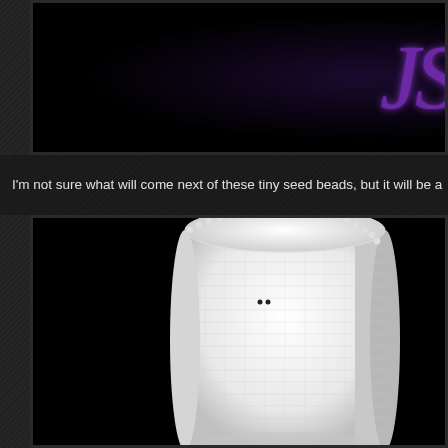[Figure (photo): Dark background image with purple cursive/script text lettering visible on the right side, appearing to be a decorative beadwork or craft project logo]
I'm not sure what will come next of these tiny seed beads, but it will be a
[Figure (photo): White seed bead woven cuff bracelet photographed against a black background, showing the cylindrical peyote or brick stitch construction with beaded texture throughout]